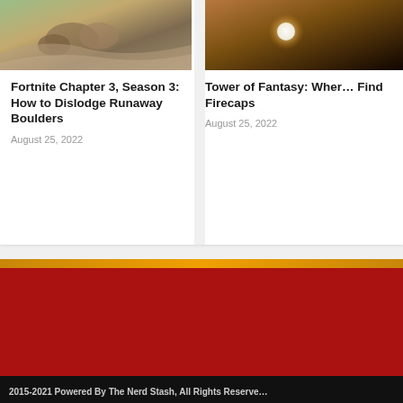[Figure (photo): Aerial or top-down view of rocky terrain with boulders, part of Fortnite Chapter 3 Season 3 screenshot]
Fortnite Chapter 3, Season 3: How to Dislodge Runaway Boulders
August 25, 2022
[Figure (photo): Dark overhead view with glowing orb, Tower of Fantasy screenshot]
Tower of Fantasy: Where to Find Firecaps
August 25, 2022
2015-2021 Powered By The Nerd Stash, All Rights Reserved
Desktop Version   Mobile Version   ↑